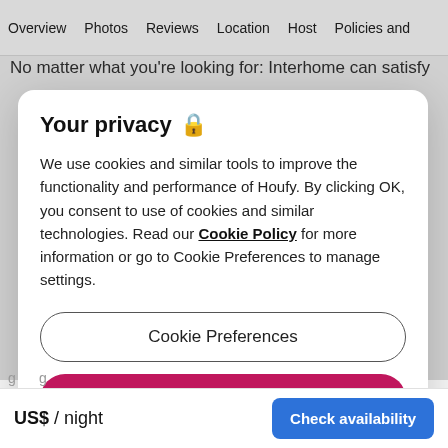Overview  Photos  Reviews  Location  Host  Policies and
No matter what you're looking for: Interhome can satisfy
Your privacy 🔒
We use cookies and similar tools to improve the functionality and performance of Houfy. By clicking OK, you consent to use of cookies and similar technologies. Read our Cookie Policy for more information or go to Cookie Preferences to manage settings.
Cookie Preferences
OK
US$ / night    Check availability